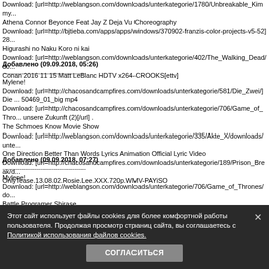Download: [url=http://weblangson.com/downloads/unterkategorie/1780/Unbreakable_Kimmy...
Athena Connor Beyonce Feat Jay Z Deja Vu Choreography
Download: [url=http://bjtieba.com/apps/apps/windows/370902-franzis-color-projects-v5-52]28...
Higurashi no Naku Koro ni kai
Download: [url=http://weblangson.com/downloads/unterkategorie/402/The_Walking_Dead/do...
Conan 2016 11 15 Matt LeBlanc HDTV x264-CROOKS[ettv]
Добавлено (09.09.2018, 05:26)
--------------------------------------------
Mylene!
Download: [url=http://chacosandcampfires.com/downloads/unterkategorie/581/Die_Zwei/]Die ... 50469_01_big mp4
Download: [url=http://chacosandcampfires.com/downloads/unterkategorie/706/Game_of_Thro... unsere Zukunft (2)[/url] .
The Schmoes Know Movie Show
Download: [url=http://weblangson.com/downloads/unterkategorie/335/Akte_X/downloads/unte...
One Direction Better Than Words Lyrics Animation Official Lyric Video
Download: [url=http://chacosandcampfires.com/downloads/unterkategorie/189/Prison_Break/d...
OnlyTease.13.08.02.Rosie.Lee.XXX.720p.WMV-PAYiSO
Добавлено (09.09.2018, 07:27)
--------------------------------------------
Mylene!
Download: [url=http://weblangson.com/downloads/unterkategorie/706/Game_of_Thrones/do...
Battle Programer Shirase
Download: [url=http://chacosandcampfires.com/downloads/unterkategorie/2664/Class/]Class c... limitless
Download: [url=http://chacosandcampfires.com/downloads/unterkategorie/228/Breaking_Bad/...
We Bare Bears.WEB DL 720.S01. Eps.13.VF.Death
Download: [url=http://weblangson.com/downloads/unterkategone/706/Game_of_Thrones/do...
Mylene!
Download: [url=http://weblangson.c... ategone/402/The_Walking_Dead/do...
Bad Moms Stream Deutsch
Download: [url=http://chacosandcampfires.com/downloads/unterkategorie/359/The_Big_Ban...
Этот сайт использует файлы cookies для более комфортной работы пользователя. Продолжая просмотр страниц сайта, вы соглашаетесь с Политикой использования файлов cookies.
СОГЛАСИТЬСЯ